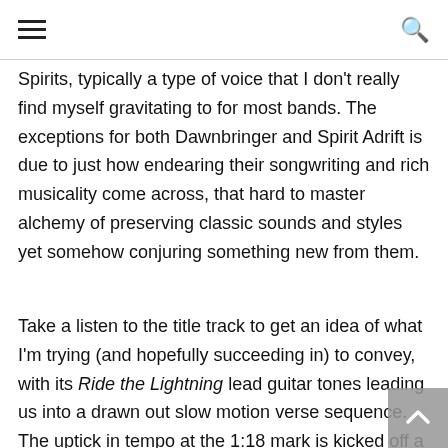[hamburger menu] [search icon]
Spirits, typically a type of voice that I don't really find myself gravitating to for most bands. The exceptions for both Dawnbringer and Spirit Adrift is due to just how endearing their songwriting and rich musicality come across, that hard to master alchemy of preserving classic sounds and styles yet somehow conjuring something new from them.
Take a listen to the title track to get an idea of what I'm trying (and hopefully succeeding in) to convey, with its Ride the Lightning lead guitar tones leading us into a drawn out slow motion verse sequence. The uptick in tempo at the 1:18 mark is kicked off a riff progression that is straight out of the classic